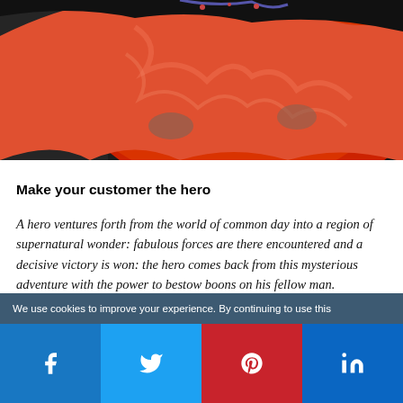[Figure (photo): Person wrapped in a bright red/orange fluffy blanket or coat, photographed from torso up against a dark background.]
Make your customer the hero
A hero ventures forth from the world of common day into a region of supernatural wonder: fabulous forces are there encountered and a decisive victory is won: the hero comes back from this mysterious adventure with the power to bestow boons on his fellow man.
– Joseph Campbell, The Hero With a Thousand Faces
We use cookies to improve your experience. By continuing to use this